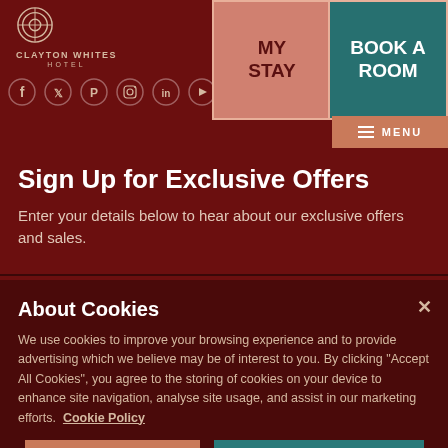Clayton Whites Hotel — MY STAY | BOOK A ROOM | MENU
Sign Up for Exclusive Offers
Enter your details below to hear about our exclusive offers and sales.
About Cookies
We use cookies to improve your browsing experience and to provide advertising which we believe may be of interest to you. By clicking "Accept All Cookies", you agree to the storing of cookies on your device to enhance site navigation, analyse site usage, and assist in our marketing efforts.  Cookie Policy
Cookies Settings | Accept All Cookies